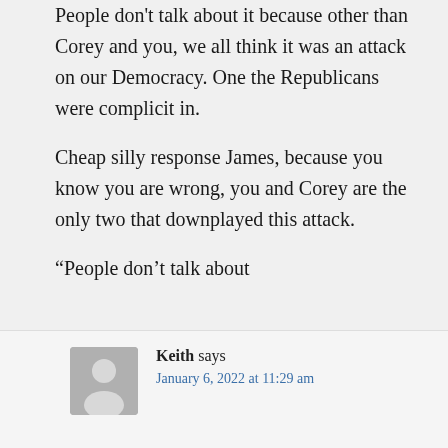People don't talk about it because other than Corey and you, we all think it was an attack on our Democracy. One the Republicans were complicit in.
Cheap silly response James, because you know you are wrong, you and Corey are the only two that downplayed this attack.
“People don’t talk about
Keith says
January 6, 2022 at 11:29 am